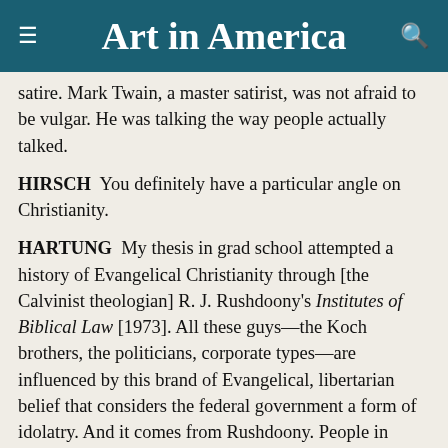Art in America
satire. Mark Twain, a master satirist, was not afraid to be vulgar. He was talking the way people actually talked.
HIRSCH  You definitely have a particular angle on Christianity.
HARTUNG  My thesis in grad school attempted a history of Evangelical Christianity through [the Calvinist theologian] R. J. Rushdoony’s Institutes of Biblical Law [1973]. All these guys—the Koch brothers, the politicians, corporate types—are influenced by this brand of Evangelical, libertarian belief that considers the federal government a form of idolatry. And it comes from Rushdoony. People in secular liberal society don’t want to know that—they can’t—they are so locked into their bubbles, still talking about Foucault in graduate school.